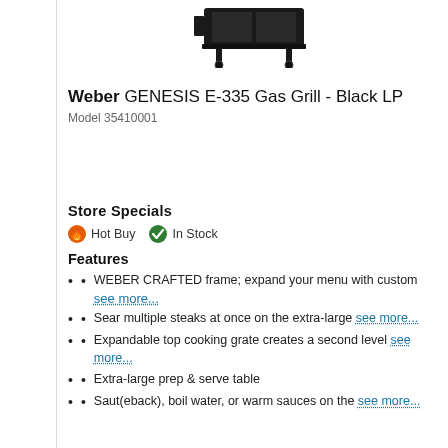[Figure (photo): Bottom portion of a black Weber gas grill on wheels, shown from front/top angle against white background]
Weber GENESIS E-335 Gas Grill - Black LP
Model 35410001
Store Specials
Hot Buy  In Stock
Features
WEBER CRAFTED frame; expand your menu with custom see more...
Sear multiple steaks at once on the extra-large see more...
Expandable top cooking grate creates a second level see more...
Extra-large prep & serve table
Saut(eback), boil water, or warm sauces on the see more...